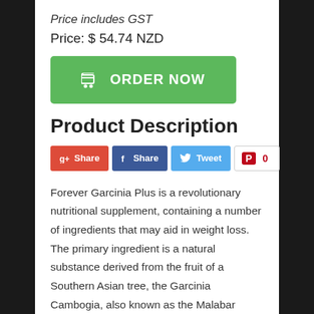Price includes GST
Price: $ 54.74 NZD
[Figure (other): Green ORDER NOW button with shopping cart icon]
Product Description
[Figure (other): Social sharing buttons: Google+ Share, Facebook Share, Twitter Tweet, Pinterest 0]
Forever Garcinia Plus is a revolutionary nutritional supplement, containing a number of ingredients that may aid in weight loss. The primary ingredient is a natural substance derived from the fruit of a Southern Asian tree, the Garcinia Cambogia, also known as the Malabar Tamarind. The rind of this fruit is dried and used to produce Hydroxycitric Acid (HCA). Chemically, HCA is very similar to the citric acid found in